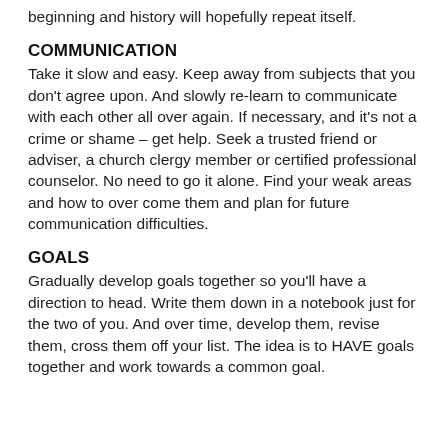beginning and history will hopefully repeat itself.
COMMUNICATION
Take it slow and easy. Keep away from subjects that you don’t agree upon. And slowly re-learn to communicate with each other all over again. If necessary, and it’s not a crime or shame – get help. Seek a trusted friend or adviser, a church clergy member or certified professional counselor. No need to go it alone. Find your weak areas and how to over come them and plan for future communication difficulties.
GOALS
Gradually develop goals together so you’ll have a direction to head. Write them down in a notebook just for the two of you. And over time, develop them, revise them, cross them off your list. The idea is to HAVE goals together and work towards a common goal.